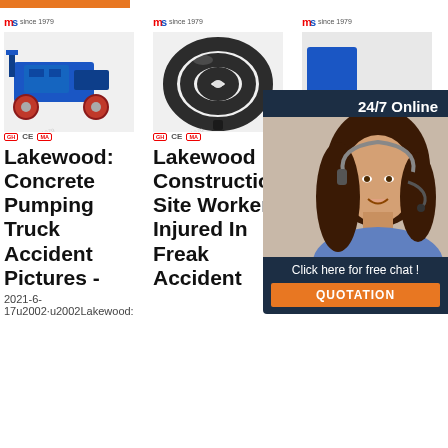[Figure (photo): Blue concrete pumping truck product photo with logo and CE/MA certifications]
[Figure (photo): Black rubber hose coiled, product photo with CE/MA certifications]
[Figure (photo): Partially visible product photo with 24/7 online chat widget overlay showing woman with headset]
Lakewood: Concrete Pumping Truck Accident Pictures -
Lakewood Construction Site Worker Injured In Freak Accident
Fo In Af Truck's Concrete Pump Explodes
2021-6-17u2002·u2002Lakewood:
24/7 Online
Click here for free chat !
QUOTATION